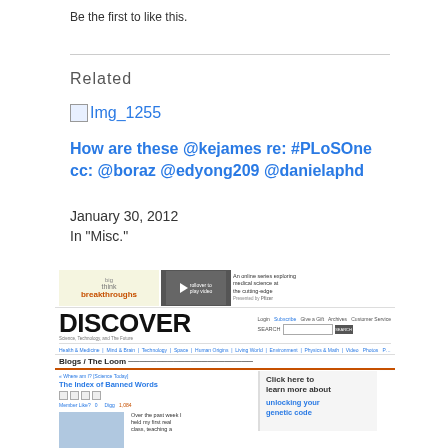Be the first to like this.
Related
[Figure (other): Broken image thumbnail labeled Img_1255]
How are these @kejames re: #PLoSOne cc: @boraz @edyong209 @danielaphd
January 30, 2012
In "Misc."
[Figure (screenshot): Screenshot of Discover magazine website showing the Big Think Breakthroughs ad banner, DISCOVER logo with navigation, Blogs / The Loom section, article titled The Index of Banned Words, and a sidebar with Click here to learn more about unlocking your genetic code]